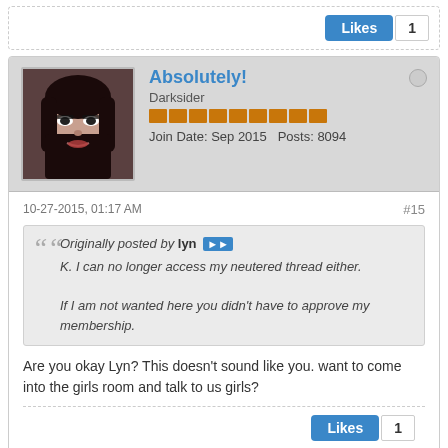[Figure (other): Likes button with count 1 at top]
[Figure (photo): Avatar photo of user Absolutely! - dark haired woman]
Absolutely!
Darksider
Join Date: Sep 2015   Posts: 8094
10-27-2015, 01:17 AM
#15
Originally posted by lyn
K. I can no longer access my neutered thread either.

If I am not wanted here you didn't have to approve my membership.
Are you okay Lyn? This doesn't sound like you. want to come into the girls room and talk to us girls?
[Figure (other): Likes button with count 1 at bottom of post]